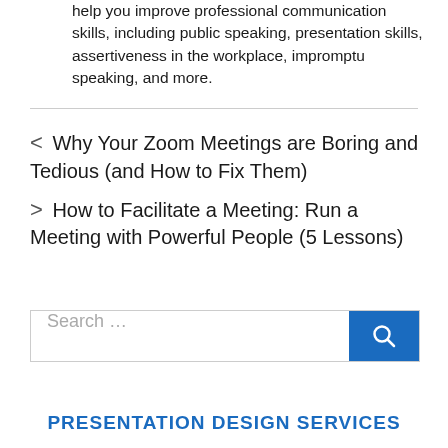help you improve professional communication skills, including public speaking, presentation skills, assertiveness in the workplace, impromptu speaking, and more.
< Why Your Zoom Meetings are Boring and Tedious (and How to Fix Them)
> How to Facilitate a Meeting: Run a Meeting with Powerful People (5 Lessons)
Search …
PRESENTATION DESIGN SERVICES